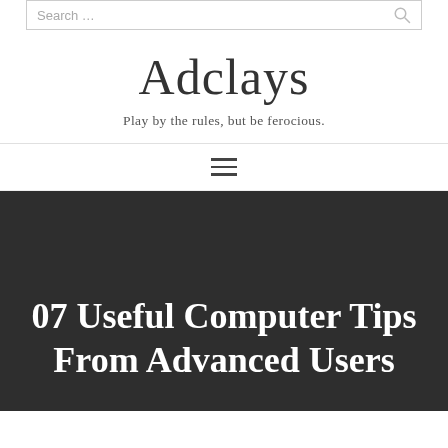Search ...
Adclays
Play by the rules, but be ferocious.
[Figure (other): Hamburger menu icon with three horizontal lines]
07 Useful Computer Tips From Advanced Users